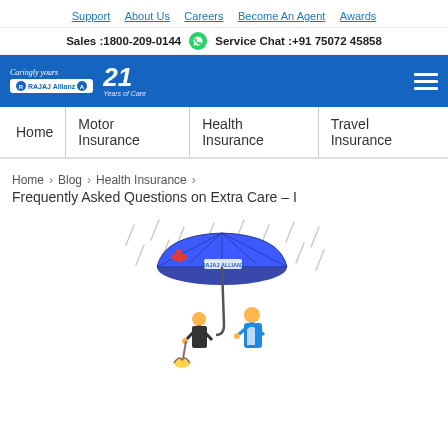Support  About Us  Careers  Become An Agent  Awards
Sales :1800-209-0144   Service Chat :+91 75072 45858
[Figure (logo): Rajaj Allianz logo with 'Caringly yours' tagline and 21 Years of Care badge on blue header bar]
Home  Motor Insurance  Health Insurance  Travel Insurance
Home > Blog > Health Insurance > Frequently Asked Questions on Extra Care – I
[Figure (illustration): Illustration of a Rajaj Allianz agent holding a large blue umbrella over an elderly person in the rain, with rain drops in the background]